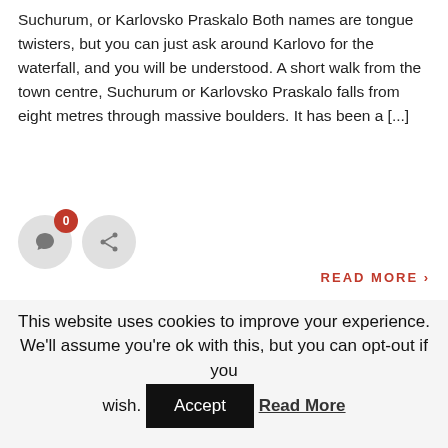Suchurum, or Karlovsko Praskalo Both names are tongue twisters, but you can just ask around Karlovo for the waterfall, and you will be understood. A short walk from the town centre, Suchurum or Karlovsko Praskalo falls from eight metres through massive boulders. It has been a [...]
[Figure (other): Two circular icon buttons: a comment icon with a red badge showing 0 comments, and a share icon.]
READ MORE >
This website uses cookies to improve your experience. We'll assume you're ok with this, but you can opt-out if you wish.